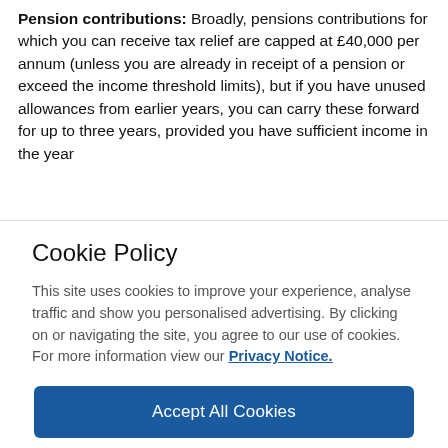Pension contributions: Broadly, pensions contributions for which you can receive tax relief are capped at £40,000 per annum (unless you are already in receipt of a pension or exceed the income threshold limits), but if you have unused allowances from earlier years, you can carry these forward for up to three years, provided you have sufficient income in the year
Cookie Policy
This site uses cookies to improve your experience, analyse traffic and show you personalised advertising. By clicking on or navigating the site, you agree to our use of cookies. For more information view our Privacy Notice.
Accept All Cookies